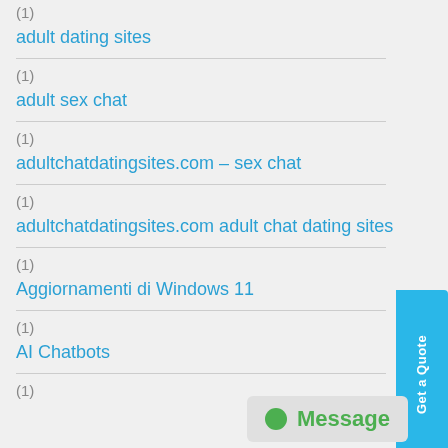(1)
adult dating sites
(1)
adult sex chat
(1)
adultchatdatingsites.com – sex chat
(1)
adultchatdatingsites.com adult chat dating sites
(1)
Aggiornamenti di Windows 11
(1)
AI Chatbots
(1)